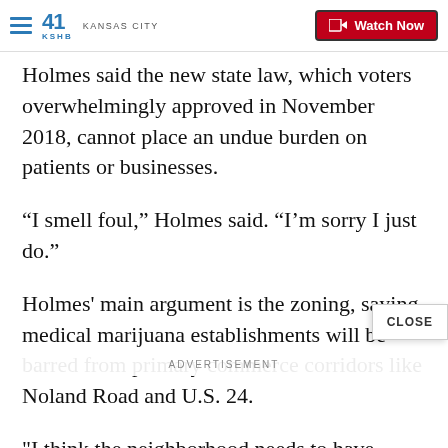41 KSHB KANSAS CITY | Watch Now
Holmes said the new state law, which voters overwhelmingly approved in November 2018, cannot place an undue burden on patients or businesses.
“I smell foul,” Holmes said. “I’m sorry I just do.”
Holmes' main argument is the zoning, saying medical marijuana establishments will be barred from primary commerce corridors like Noland Road and U.S. 24.
"I think the neighborhood needs to have some inpu... a business that operates... cash and operates selling a substance that is against federal law." Councilman Curt Dougherty said.